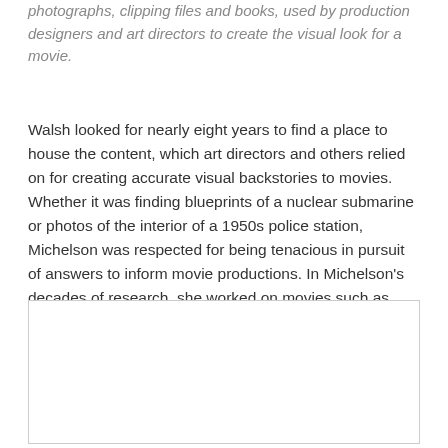photographs, clipping files and books, used by production designers and art directors to create the visual look for a movie.
Walsh looked for nearly eight years to find a place to house the content, which art directors and others relied on for creating accurate visual backstories to movies. Whether it was finding blueprints of a nuclear submarine or photos of the interior of a 1950s police station, Michelson was respected for being tenacious in pursuit of answers to inform movie productions. In Michelson's decades of research, she worked on movies such as Rosemary's Baby, Scarface, Fiddler on the Roof, Full Metal Jacket, The Graduate, and The Birds.
[Figure (other): Empty white box with a light gray border, likely a placeholder for an image.]